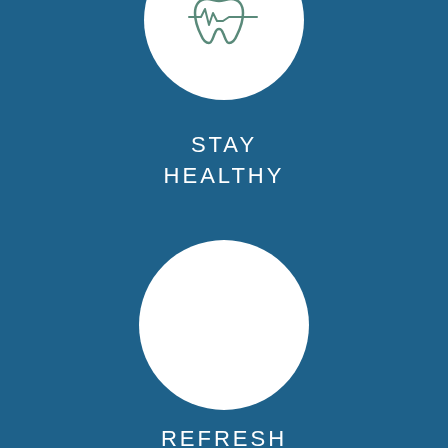[Figure (illustration): White circle with a dental/tooth icon and heartbeat line, on dark blue background, partially cropped at top]
STAY HEALTHY
[Figure (illustration): Large white circle on dark blue background, no icon]
REFRESH YOUR SMILE